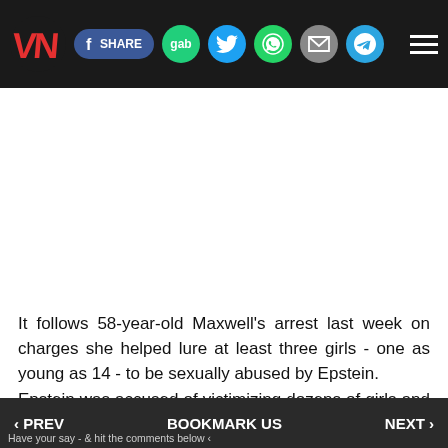VN [logo] | SHARE | gab | [twitter] | [whatsapp] | [email] | [telegram] | [menu]
[Figure (other): White advertisement space]
It follows 58-year-old Maxwell's arrest last week on charges she helped lure at least three girls - one as young as 14 - to be sexually abused by Epstein.
Epstein was accused of victimizing dozens of girls and women over many years.
‹ PREV   BOOKMARK US   NEXT ›
Have your say - & hit the comments below ‹